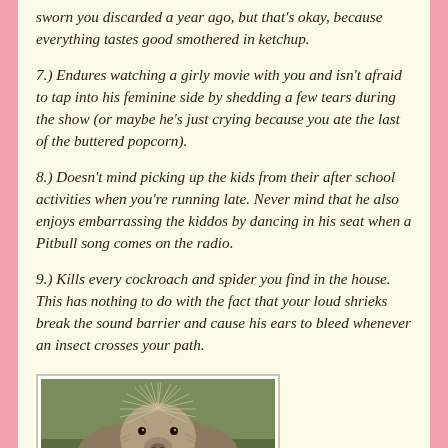sworn you discarded a year ago, but that's okay, because everything tastes good smothered in ketchup.
7.) Endures watching a girly movie with you and isn't afraid to tap into his feminine side by shedding a few tears during the show (or maybe he's just crying because you ate the last of the buttered popcorn).
8.) Doesn't mind picking up the kids from their after school activities when you're running late. Never mind that he also enjoys embarrassing the kiddos by dancing in his seat when a Pitbull song comes on the radio.
9.) Kills every cockroach and spider you find in the house. This has nothing to do with the fact that your loud shrieks break the sound barrier and cause his ears to bleed whenever an insect crosses your path.
[Figure (photo): Close-up photograph of a porcupine's face and quills, viewed from the front/top, with greenery in the background.]